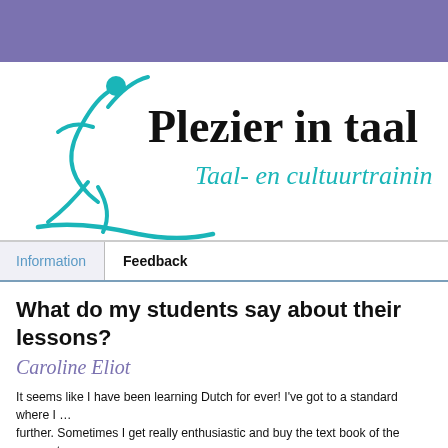[Figure (logo): Plezier in taal logo with teal figure and cursive text 'Plezier in taal' and subtitle 'Taal- en cultuurtraining']
Information | Feedback
What do my students say about their lessons?
Caroline Eliot
It seems like I have been learning Dutch for ever! I've got to a standard where I ... further. Sometimes I get really enthusiastic and buy the text book of the moment... with only the first chapters done!  I know my Dutch is OK though I have weak p... not how lessons or text books work.
I was Googling and stumbled on these short, targeted  lessons on Plezier in Taal... and have actually now worked my way through most of them. It was a bit like s... whole house is just too daunting but by concentrating on one room at a time, it a... effe...